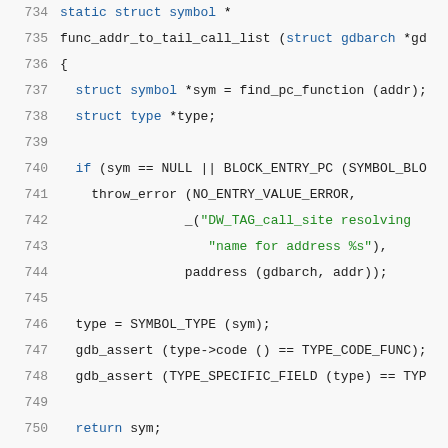[Figure (screenshot): Source code listing in a monospace editor showing lines 734-754 of a C function 'func_addr_to_tail_call_list' with syntax highlighting. Keywords and types in blue, string literals in green, comments in dark red/brown.]